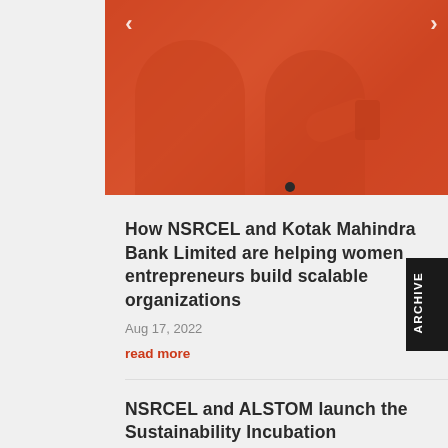[Figure (photo): Hero image with orange/red tint overlay showing two women, one holding a phone. Carousel navigation arrows on left and right, with a dot indicator at bottom.]
How NSRCEL and Kotak Mahindra Bank Limited are helping women entrepreneurs build scalable organizations
Aug 17, 2022
read more
NSRCEL and ALSTOM launch the Sustainability Incubation